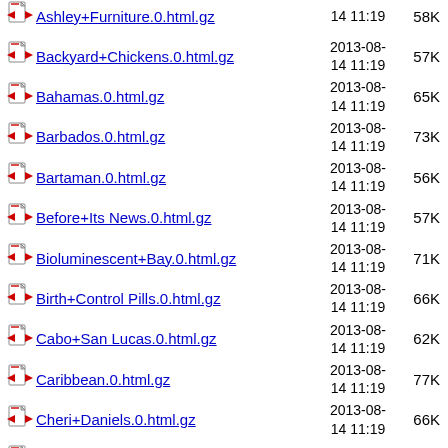Ashley+Furniture.0.html.gz  2013-08-14 11:19  58K
Backyard+Chickens.0.html.gz  2013-08-14 11:19  57K
Bahamas.0.html.gz  2013-08-14 11:19  65K
Barbados.0.html.gz  2013-08-14 11:19  73K
Bartaman.0.html.gz  2013-08-14 11:19  56K
Before+Its News.0.html.gz  2013-08-14 11:19  57K
Bioluminescent+Bay.0.html.gz  2013-08-14 11:19  71K
Birth+Control Pills.0.html.gz  2013-08-14 11:19  66K
Cabo+San Lucas.0.html.gz  2013-08-14 11:19  62K
Caribbean.0.html.gz  2013-08-14 11:19  77K
Cheri+Daniels.0.html.gz  2013-08-14 11:19  66K
Columbus+Ledger.0.html.gz  2013-08-14 11:19  56K